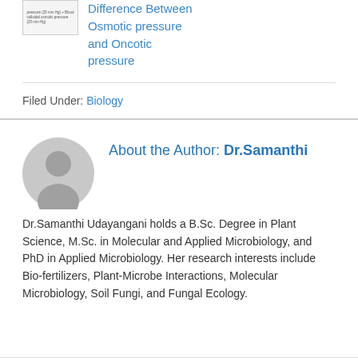[Figure (screenshot): Thumbnail image showing a table about osmotic pressure and blood colloidal osmotic pressure values]
Difference Between Osmotic pressure and Oncotic pressure
Filed Under: Biology
About the Author: Dr.Samanthi
Dr.Samanthi Udayangani holds a B.Sc. Degree in Plant Science, M.Sc. in Molecular and Applied Microbiology, and PhD in Applied Microbiology. Her research interests include Bio-fertilizers, Plant-Microbe Interactions, Molecular Microbiology, Soil Fungi, and Fungal Ecology.